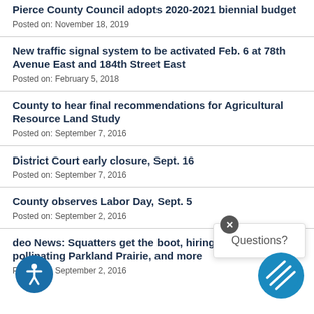Pierce County Council adopts 2020-2021 biennial budget
Posted on: November 18, 2019
New traffic signal system to be activated Feb. 6 at 78th Avenue East and 184th Street East
Posted on: February 5, 2018
County to hear final recommendations for Agricultural Resource Land Study
Posted on: September 7, 2016
District Court early closure, Sept. 16
Posted on: September 7, 2016
County observes Labor Day, Sept. 5
Posted on: September 2, 2016
deo News: Squatters get the boot, hiring elect workers, pollinating Parkland Prairie, and more
Posted on: September 2, 2016